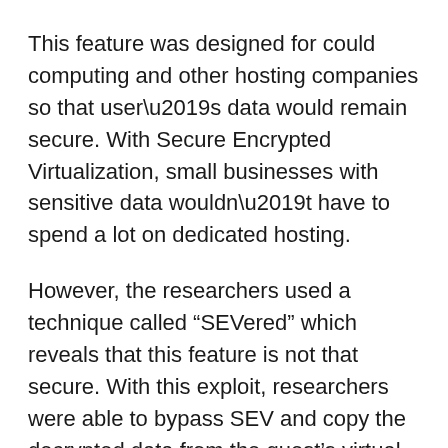This feature was designed for could computing and other hosting companies so that user's data would remain secure. With Secure Encrypted Virtualization, small businesses with sensitive data wouldn't have to spend a lot on dedicated hosting.
However, the researchers used a technique called “SEVered” which reveals that this feature is not that secure. With this exploit, researchers were able to bypass SEV and copy the decrypted data from the guest’s virtual memory. You can check out full details of the exploits here.